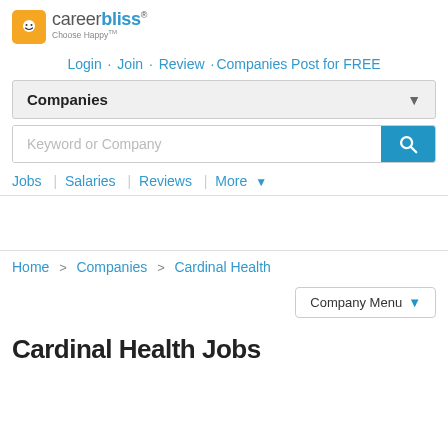[Figure (logo): CareerBliss logo with yellow smiley face icon and tagline Choose Happy]
Login · Join · Review ·Companies Post for FREE
Companies (dropdown)
Keyword or Company (search input)
Jobs | Salaries | Reviews | More ▾
Home > Companies > Cardinal Health
Company Menu ▾
Cardinal Health Jobs